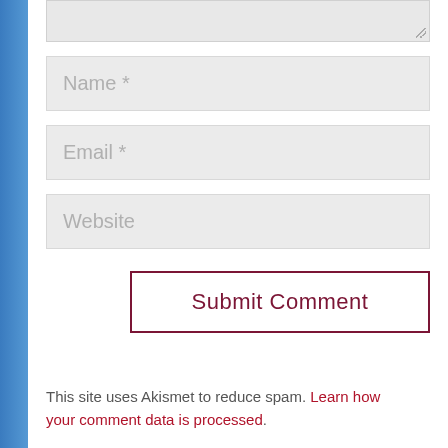[Figure (screenshot): Partial textarea input field at top of page (comment form), showing resize handle at bottom right]
Name *
Email *
Website
Submit Comment
This site uses Akismet to reduce spam. Learn how your comment data is processed.